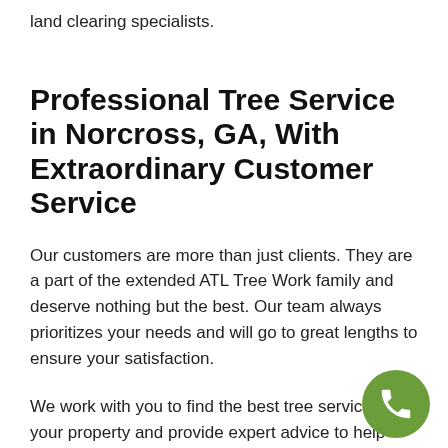land clearing specialists.
Professional Tree Service in Norcross, GA, With Extraordinary Customer Service
Our customers are more than just clients. They are a part of the extended ATL Tree Work family and deserve nothing but the best. Our team always prioritizes your needs and will go to great lengths to ensure your satisfaction.
We work with you to find the best tree services for your property and provide expert advice to help your trees flourish year-round. Nothing is more important to us than satisfying our customers. We strive to surpass your high expectations, not just with our tree services but